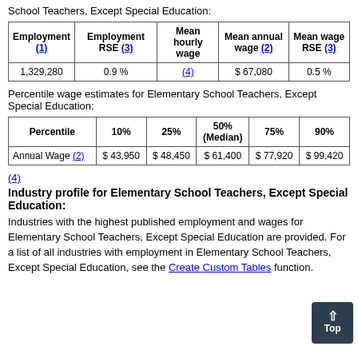School Teachers, Except Special Education:
| Employment (1) | Employment RSE (3) | Mean hourly wage | Mean annual wage (2) | Mean wage RSE (3) |
| --- | --- | --- | --- | --- |
| 1,329,280 | 0.9 % | (4) | $ 67,080 | 0.5 % |
Percentile wage estimates for Elementary School Teachers, Except Special Education:
| Percentile | 10% | 25% | 50% (Median) | 75% | 90% |
| --- | --- | --- | --- | --- | --- |
| Annual Wage (2) | $ 43,950 | $ 48,450 | $ 61,400 | $ 77,920 | $ 99,420 |
(4)
Industry profile for Elementary School Teachers, Except Special Education:
Industries with the highest published employment and wages for Elementary School Teachers, Except Special Education are provided. For a list of all industries with employment in Elementary School Teachers, Except Special Education, see the Create Custom Tables function.